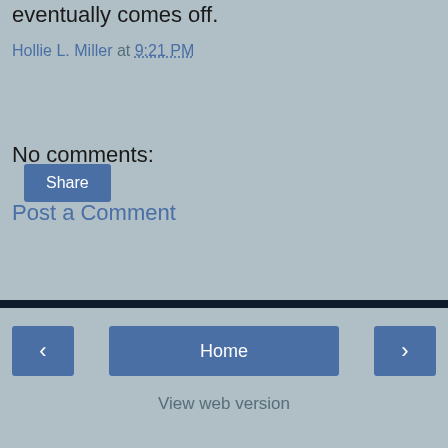eventually comes off.
Hollie L. Miller at 9:21 PM
Share
No comments:
Post a Comment
‹  Home  ›  View web version